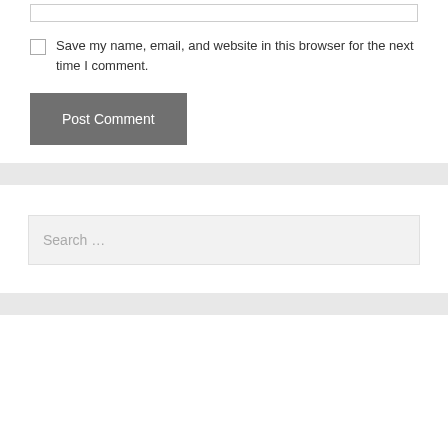Save my name, email, and website in this browser for the next time I comment.
Post Comment
Search ...